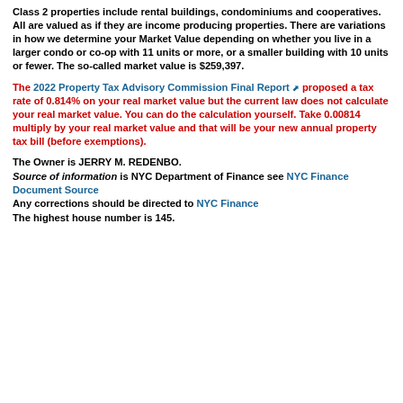Class 2 properties include rental buildings, condominiums and cooperatives. All are valued as if they are income producing properties. There are variations in how we determine your Market Value depending on whether you live in a larger condo or co-op with 11 units or more, or a smaller building with 10 units or fewer. The so-called market value is $259,397.
The 2022 Property Tax Advisory Commission Final Report [link] proposed a tax rate of 0.814% on your real market value but the current law does not calculate your real market value. You can do the calculation yourself. Take 0.00814 multiply by your real market value and that will be your new annual property tax bill (before exemptions).
The Owner is JERRY M. REDENBO. Source of information is NYC Department of Finance see NYC Finance Document Source Any corrections should be directed to NYC Finance The highest house number is 145.